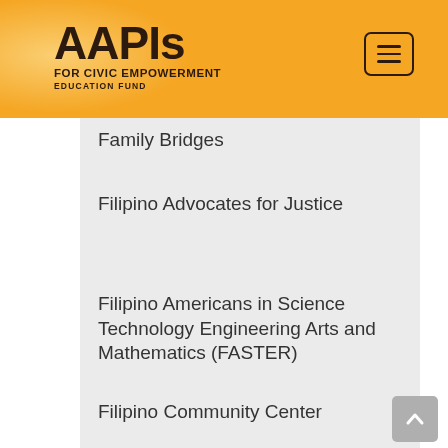AAPIs FOR CIVIC EMPOWERMENT EDUCATION FUND
Family Bridges
Filipino Advocates for Justice
Filipino Americans in Science Technology Engineering Arts and Mathematics (FASTER)
Filipino Community Center